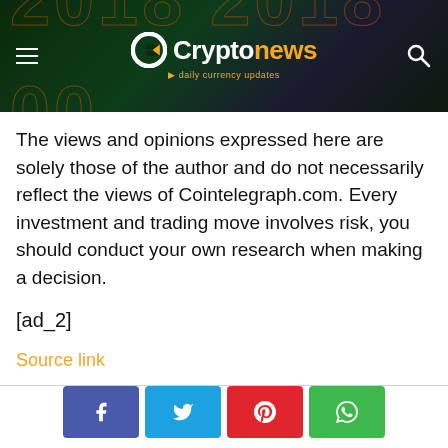[Figure (logo): Cryptonews website header banner with logo — white 'C' icon with orange chevron, text 'Crypto' in white and 'news' in orange, tagline 'daily currency updates' in orange. Dark green/teal background with orange numeric watermark text '2018'. Hamburger menu icon on left, search icon on right.]
The views and opinions expressed here are solely those of the author and do not necessarily reflect the views of Cointelegraph.com. Every investment and trading move involves risk, you should conduct your own research when making a decision.
[ad_2]
Source link
[Figure (other): Row of four social sharing buttons: Facebook (purple-blue), Twitter (cyan-blue), Pinterest (red), WhatsApp (green), each with a white icon.]